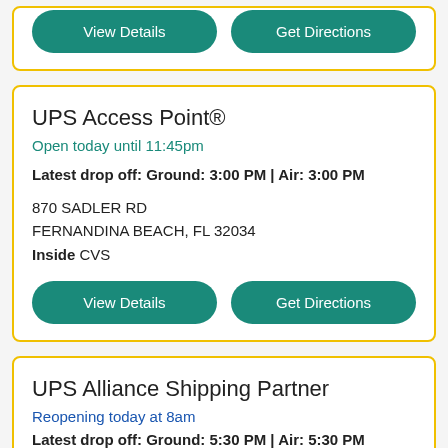[Figure (screenshot): Top card (partial): two teal rounded buttons labeled 'View Details' and 'Get Directions']
UPS Access Point®
Open today until 11:45pm
Latest drop off: Ground: 3:00 PM | Air: 3:00 PM
870 SADLER RD
FERNANDINA BEACH, FL 32034
Inside CVS
View Details
Get Directions
UPS Alliance Shipping Partner
Reopening today at 8am
Latest drop off: Ground: 5:30 PM | Air: 5:30 PM